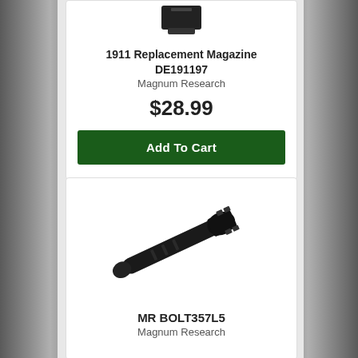[Figure (photo): 1911 Replacement Magazine product photo (partial, top cropped)]
1911 Replacement Magazine
DE191197
Magnum Research
$28.99
Add To Cart
[Figure (photo): MR BOLT357L5 bolt assembly product photo]
MR BOLT357L5
Magnum Research